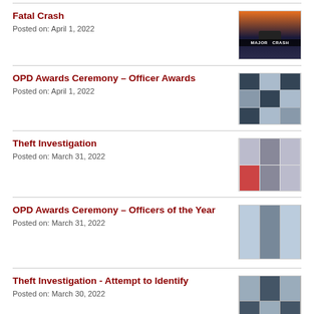Fatal Crash
Posted on: April 1, 2022
[Figure (photo): Night scene with police lights and text 'MAJOR CRASH']
OPD Awards Ceremony – Officer Awards
Posted on: April 1, 2022
[Figure (photo): Grid of officer photos at awards ceremony]
Theft Investigation
Posted on: March 31, 2022
[Figure (photo): Grid of photos showing suspects and vehicles in theft investigation]
OPD Awards Ceremony – Officers of the Year
Posted on: March 31, 2022
[Figure (photo): Three officers posing with awards]
Theft Investigation - Attempt to Identify
Posted on: March 30, 2022
[Figure (photo): Grid of suspect photos for theft identification]